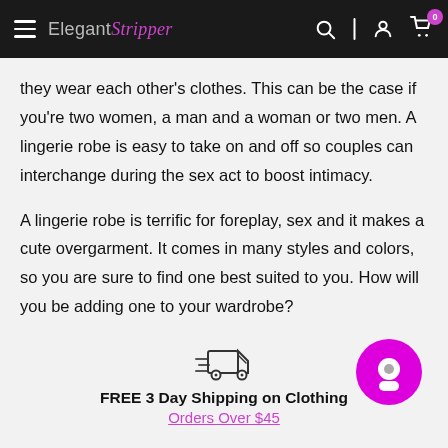Elegant Stripper — navigation bar
they wear each other's clothes. This can be the case if you're two women, a man and a woman or two men. A lingerie robe is easy to take on and off so couples can interchange during the sex act to boost intimacy.
A lingerie robe is terrific for foreplay, sex and it makes a cute overgarment. It comes in many styles and colors, so you are sure to find one best suited to you. How will you be adding one to your wardrobe?
[Figure (illustration): Fast delivery truck icon with speed lines]
FREE 3 Day Shipping on Clothing
Orders Over $45